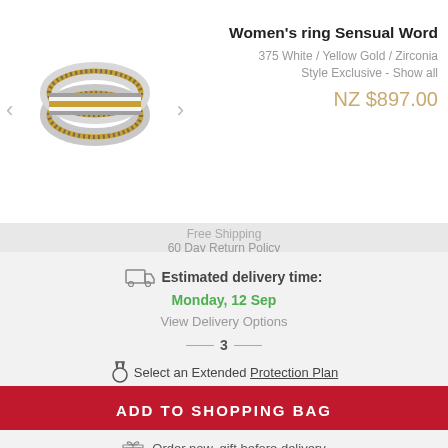[Figure (photo): Women's ring Sensual Word product image - a white and yellow gold band ring with zirconia stones]
Women's ring Sensual Word
375 White / Yellow Gold / Zirconia
Style Exclusive - Show all
NZ $897.00
Free Shipping
60 Day Return Policy
Estimated delivery time: Monday, 12 Sep
View Delivery Options
3
Select an Extended Protection Plan
ADD TO SHOPPING BAG
SAVE
Order now, gift before delivery
Learn More [?]